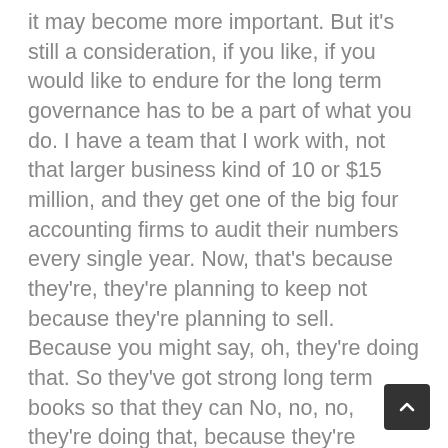it may become more important. But it's still a consideration, if you like, if you would like to endure for the long term governance has to be a part of what you do. I have a team that I work with, not that larger business kind of 10 or $15 million, and they get one of the big four accounting firms to audit their numbers every single year. Now, that's because they're, they're planning to keep not because they're planning to sell. Because you might say, oh, they're doing that. So they've got strong long term books so that they can No, no, no, they're doing that, because they're planning to cave. Am I recommending that you do that? Not necessarily. But that governance element is what works for them. It is and our larger clients, many of them have audits not and not because the bank requires it, because they just want to make sure everything is being done right because the shareholders are farther from the decision making and the cash and it's just a way to make sure the systems are tight and there's not